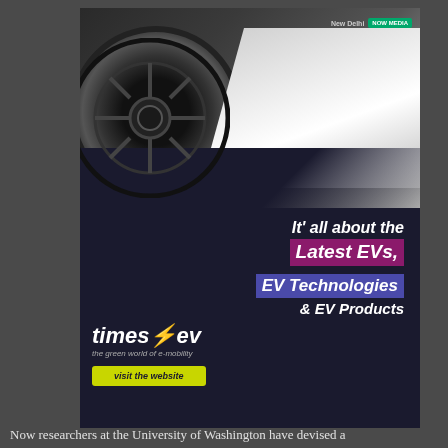[Figure (illustration): Advertisement for TimesEV website featuring a sports car wheel and body at the top, with dark background and text: 'It' all about the Latest EVs, EV Technologies & EV Products' with timesev logo and 'visit the website' button. New Delhi NOW MEDIA badge in top right corner.]
Now researchers at the University of Washington have devised a